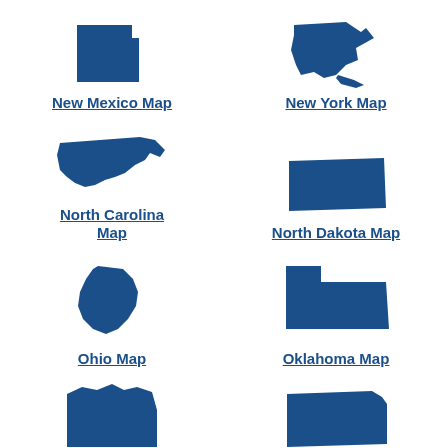[Figure (map): New Mexico state silhouette map in blue]
New Mexico Map
[Figure (map): New York state silhouette map in blue]
New York Map
[Figure (map): North Carolina state silhouette map in blue]
North Carolina Map
[Figure (map): North Dakota state silhouette map in blue]
North Dakota Map
[Figure (map): Ohio state silhouette map in blue]
Ohio Map
[Figure (map): Oklahoma state silhouette map in blue]
Oklahoma Map
[Figure (map): Oregon state silhouette map in blue]
Oregon Map
[Figure (map): Pennsylvania state silhouette map in blue]
Pennsylvania Map